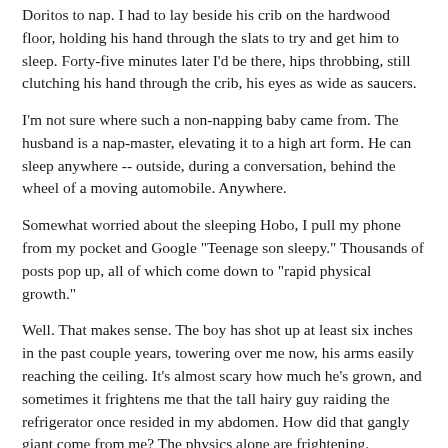Doritos to nap. I had to lay beside his crib on the hardwood floor, holding his hand through the slats to try and get him to sleep. Forty-five minutes later I'd be there, hips throbbing, still clutching his hand through the crib, his eyes as wide as saucers.
I'm not sure where such a non-napping baby came from. The husband is a nap-master, elevating it to a high art form. He can sleep anywhere -- outside, during a conversation, behind the wheel of a moving automobile. Anywhere.
Somewhat worried about the sleeping Hobo, I pull my phone from my pocket and Google "Teenage son sleepy." Thousands of posts pop up, all of which come down to "rapid physical growth."
Well. That makes sense. The boy has shot up at least six inches in the past couple years, towering over me now, his arms easily reaching the ceiling. It's almost scary how much he's grown, and sometimes it frightens me that the tall hairy guy raiding the refrigerator once resided in my abdomen. How did that gangly giant come from me? The physics alone are frightening.
I put my phone away and look back down at him. So now he naps. Great. Most boring. One of few life's true decisions. As I lean in...